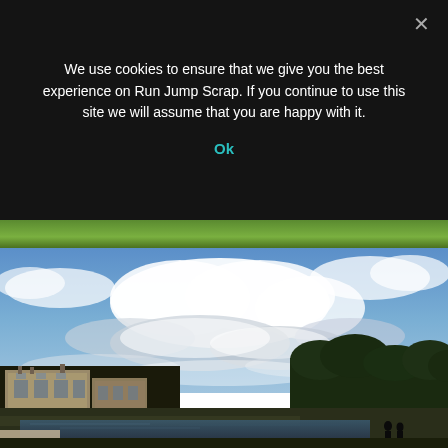We use cookies to ensure that we give you the best experience on Run Jump Scrap. If you continue to use this site we will assume that you are happy with it.
Ok
[Figure (photo): Outdoor photo of a large stone country house / manor with trees on the right side, a pond or lake in front, green lawn, under a partly cloudy blue sky. Two dark silhouetted figures visible near the water on the right.]